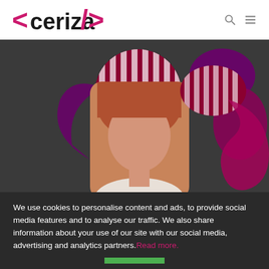[Figure (logo): Ceriza logo with angle bracket styling: <ceriza/>]
[Figure (photo): Website screenshot showing a woman with auburn hair against a dark background with decorative magenta/purple abstract shapes and red-and-white striped circular element]
We use cookies to personalise content and ads, to provide social media features and to analyse our traffic. We also share information about your use of our site with our social media, advertising and analytics partners. Read more.